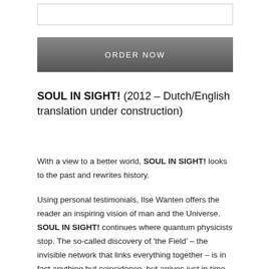[Figure (other): Empty input/search box]
ORDER NOW
SOUL IN SIGHT! (2012 – Dutch/English translation under construction)
With a view to a better world, SOUL IN SIGHT! looks to the past and rewrites history.
Using personal testimonials, Ilse Wanten offers the reader an inspiring vision of man and the Universe. SOUL IN SIGHT! continues where quantum physicists stop. The so-called discovery of 'the Field' – the invisible network that links everything together – is in fact anything but coincidence, but arrives just in time to help humanity take the next necessary step.